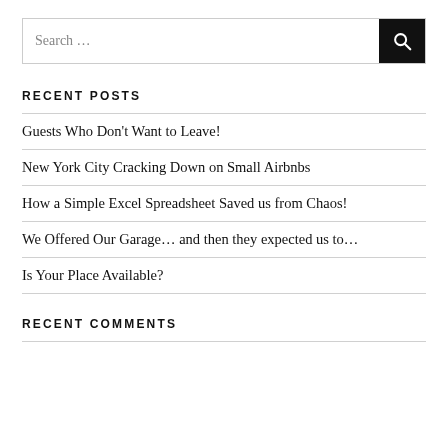[Figure (other): Search bar with text input and black search button with magnifying glass icon]
RECENT POSTS
Guests Who Don't Want to Leave!
New York City Cracking Down on Small Airbnbs
How a Simple Excel Spreadsheet Saved us from Chaos!
We Offered Our Garage… and then they expected us to…
Is Your Place Available?
RECENT COMMENTS